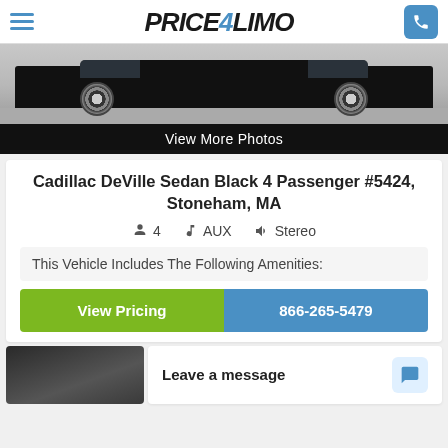PRICE4LIMO
[Figure (photo): Black Cadillac DeVille sedan, side view, parked on pavement]
View More Photos
Cadillac DeVille Sedan Black 4 Passenger #5424, Stoneham, MA
4  AUX  Stereo
This Vehicle Includes The Following Amenities:
View Pricing
866-265-5479
[Figure (photo): Partial photo of a dark-colored vehicle at bottom left]
Leave a message